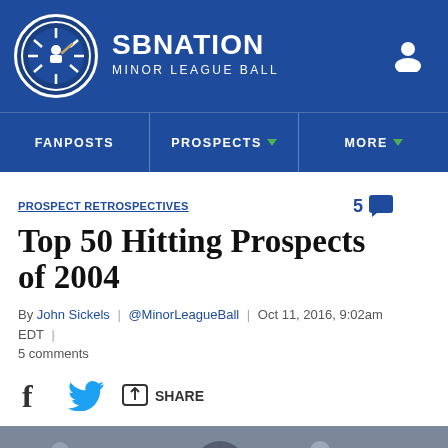SB NATION — MINOR LEAGUE BALL
FANPOSTS | PROSPECTS | MORE
PROSPECT RETROSPECTIVES
Top 50 Hitting Prospects of 2004
By John Sickels | @MinorLeagueBall | Oct 11, 2016, 9:02am EDT | 5 comments
SHARE
[Figure (photo): Blurred baseball stadium crowd photo with a white bat visible in the foreground]